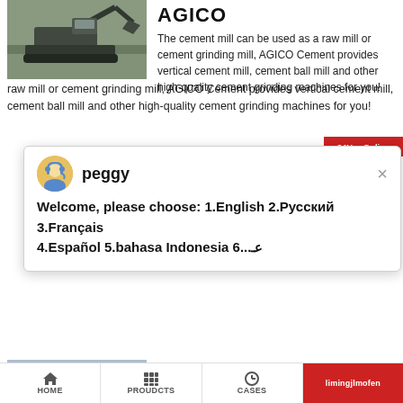[Figure (photo): Excavator or construction/mining machine working with gravel/aggregate material]
AGICO
The cement mill can be used as a raw mill or cement grinding mill, AGICO Cement provides vertical cement mill, cement ball mill and other high-quality cement grinding machines for you!
[Figure (screenshot): Chat popup with avatar of agent named 'peggy' showing message: Welcome, please choose: 1.English 2.Русский 3.Français 4.Español 5.bahasa Indonesia 6...عـ]
[Figure (photo): Industrial cement mill or grinding equipment]
Cement
Nov 19, 2014  The MPS 3350 B vert... from Gebr. Pfeiffer and has 350,000t/yr of white ce... capacity and 760,000t of grey cement production
[Figure (infographic): Blue circle badge with number 1, and Need question & suggestion? sidebar with Chat Now and Enquiry buttons]
HOME    PROUDCTS    CASES    limingjlmofen